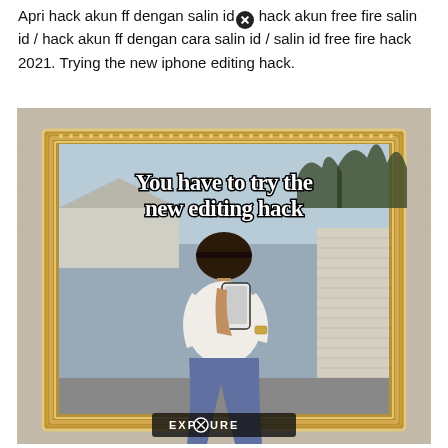Apri hack akun ff dengan salin id / hack akun free fire salin id / hack akun ff dengan cara salin id / salin id free fire hack 2021. Trying the new iphone editing hack.
[Figure (photo): A person taking a mirror selfie with a phone. The mirror has a gold ornate frame. Overlaid text reads 'You have to try the new editing hack'. An EXPOSURE watermark appears at the bottom of the image.]